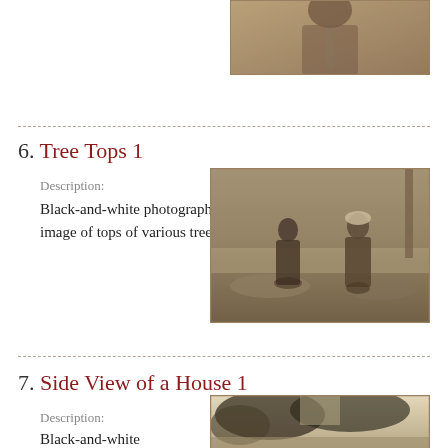[Figure (photo): Partial sepia/black-and-white photograph showing a person from the torso up, cropped at top of page]
6. Tree Tops 1
Description:
Black-and-white photograph with image of tops of various trees.
[Figure (photo): Sepia photograph of two women standing outdoors near rocks and trees]
7. Side View of a House 1
Description:
Black-and-white
[Figure (photo): Sepia photograph showing trees and partial view of a house]